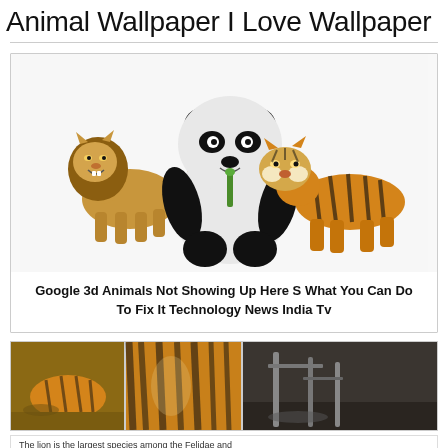Animal Wallpaper I Love Wallpaper
[Figure (photo): 3D rendered animals: a lion on the left, a giant panda eating bamboo in the center, and a tiger on the right, on a white background]
Google 3d Animals Not Showing Up Here S What You Can Do To Fix It Technology News India Tv
[Figure (photo): Two tiger photos side by side on the left: a tiger in grass and a close-up of tiger stripes. On the right, a dark indoor photo with metallic stands or equipment.]
The lion is the largest species among the Felidae and